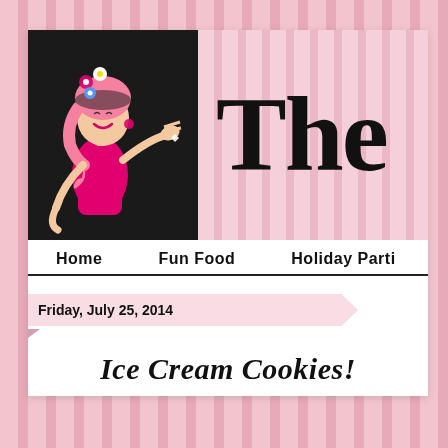[Figure (illustration): Cartoon illustration of a stylish woman with pink hair and flowers, wearing a pink dress, on a dark background. Right side shows pink vertical stripes with large 'The' text partially visible.]
Home   Fun Food   Holiday Parti…
Friday, July 25, 2014
Ice Cream Cookies!